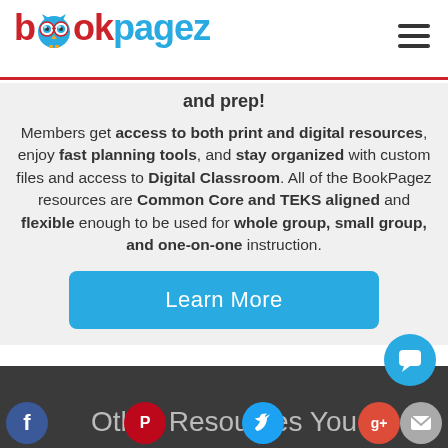[Figure (logo): BookPagez logo with owl mascot and hamburger menu icon]
and prep!
Members get access to both print and digital resources, enjoy fast planning tools, and stay organized with custom files and access to Digital Classroom. All of the BookPagez resources are Common Core and TEKS aligned and flexible enough to be used for whole group, small group, and one-on-one instruction.
[Figure (other): Learn More button in blue]
Other Resources You
[Figure (other): Social media icons: Facebook, Pinterest, Twitter, Google+, chat bubble, mail icon]